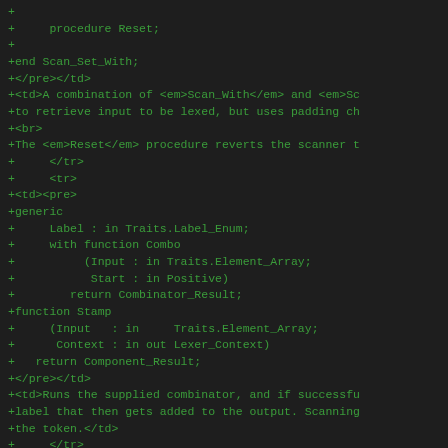Source code diff showing Ada generic scanner/combinator code with HTML markup